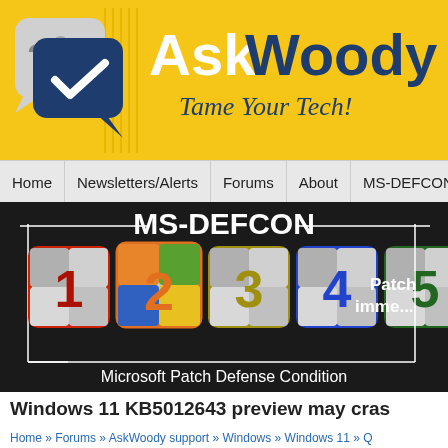[Figure (logo): AskWoody logo with chat bubble icons and tagline 'Tame Your Tech!' on yellow background]
Home | Newsletters/Alerts | Forums | About | MS-DEFCON
[Figure (infographic): MS-DEFCON indicator showing numbered boxes 1-5 on black background with text 'Microsoft Patch Defense Condition']
Windows 11 KB5012643 preview may cras
Home » Forums » AskWoody support » Windows » Windows 11 » Q KB5012643 preview may crash .Net 3.5 Framework